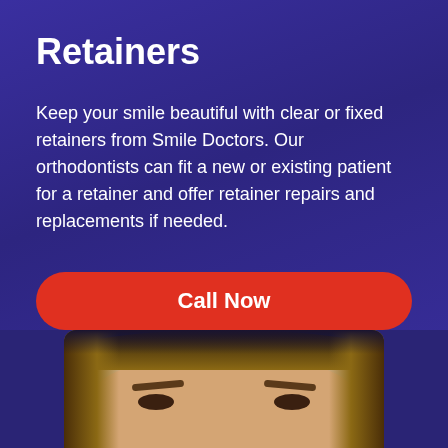Retainers
Keep your smile beautiful with clear or fixed retainers from Smile Doctors. Our orthodontists can fit a new or existing patient for a retainer and offer retainer repairs and replacements if needed.
Call Now
Book a Consultation
[Figure (photo): Partial photo of a young woman with blonde hair, showing the top of her head, forehead, and eyes, cropped at the bottom of the page. The photo has a rounded-top rectangular frame against a dark blue background.]